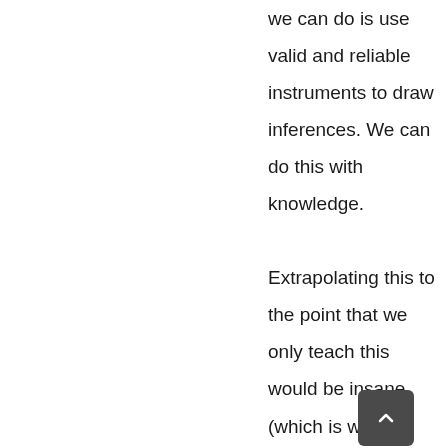we can do is use valid and reliable instruments to draw inferences. We can do this with knowledge.

Extrapolating this to the point that we only teach this would be insane (which is what I think your saying). This is acknowledged by lots of people, its ignored due to a abuse and misunderstanding